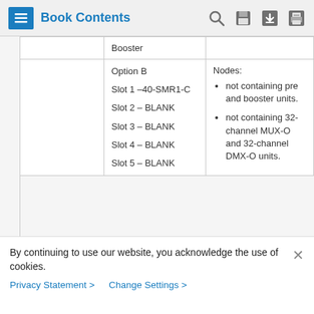Book Contents
| Booster |  |
| Option B
Slot 1 –40-SMR1-C
Slot 2 – BLANK
Slot 3 – BLANK
Slot 4 – BLANK
Slot 5 – BLANK | Nodes:
• not containing pre and booster units.
• not containing 32-channel MUX-O and 32-channel DMX-O units. |
By continuing to use our website, you acknowledge the use of cookies.
Privacy Statement > Change Settings >